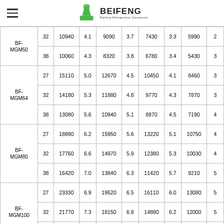BEIFENG Baifeng Refrigeration Equipment
| Model | Temp | Q1 | COP1 | Q2 | COP2 | Q3 | COP3 | Q4 | COP4 |
| --- | --- | --- | --- | --- | --- | --- | --- | --- | --- |
| BF-MGM50 | 32 | 10940 | 4.1 | 9090 | 3.7 | 7430 | 3.3 | 5990 | 2 |
| BF-MGM50 | 38 | 10060 | 4.3 | 8320 | 3.8 | 6780 | 3.4 | 5430 | 3 |
| BF-MGM64 | 27 | 15110 | 5.0 | 12670 | 4.5 | 10450 | 4.1 | 8460 | 3 |
| BF-MGM64 | 32 | 14180 | 5.3 | 11880 | 4.8 | 9770 | 4.3 | 7870 | 3 |
| BF-MGM64 | 38 | 13080 | 5.6 | 10940 | 5.1 | 8970 | 4.5 | 7190 | 4 |
| BF-MGM80 | 27 | 18890 | 6.2 | 15950 | 5.6 | 13220 | 5.1 | 10750 | 4 |
| BF-MGM80 | 32 | 17760 | 6.6 | 14970 | 5.9 | 12380 | 5.3 | 10030 | 4 |
| BF-MGM80 | 38 | 16420 | 7.0 | 13840 | 6.3 | 11420 | 5.7 | 9210 | 5 |
| BF-MGM100 | 27 | 23330 | 6.9 | 19520 | 6.5 | 16110 | 6.0 | 13080 | 5 |
| BF-MGM100 | 32 | 21770 | 7.3 | 18150 | 6.8 | 14880 | 6.2 | 12000 | 5 |